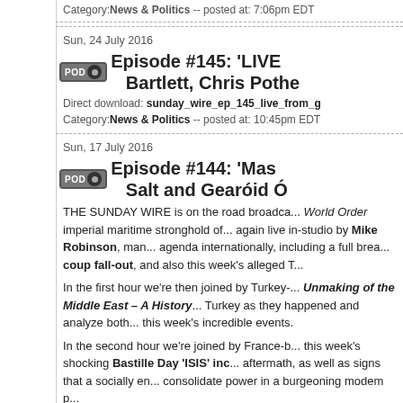Category:News & Politics -- posted at: 7:06pm EDT
Sun, 24 July 2016
Episode #145: 'LIVE... Bartlett, Chris Pothe...
Direct download: sunday_wire_ep_145_live_from_g... Category:News & Politics -- posted at: 10:45pm EDT
Sun, 17 July 2016
Episode #144: 'Mas... Salt and Gearóid Ó...
THE SUNDAY WIRE is on the road broadca... World Order imperial maritime stronghold of... again live in-studio by Mike Robinson, man... agenda internationally, including a full brea... coup fall-out, and also this week's alleged T...
In the first hour we're then joined by Turkey-... Unmaking of the Middle East – A History... Turkey as they happened and analyze both... this week's incredible events.
In the second hour we're joined by France-b... this week's shocking Bastille Day 'ISIS' inc... aftermath, as well as signs that a socially en... consolidate power in a burgeoning modem p...
In the final half hour we'll round-up the news... known as PokemonGo currently besieging ... deadly risks involved.
Strap yourselves in and lower the blast shiel...